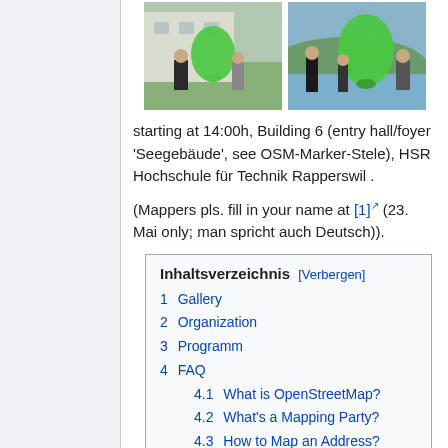[Figure (photo): Two photos side by side: left photo shows people holding a large green OpenStreetMap marker cutout in front of a building; right photo shows people handling a similar green marker outdoors near water.]
starting at 14:00h, Building 6 (entry hall/foyer 'Seegebäude', see OSM-Marker-Stele), HSR Hochschule für Technik Rapperswil .
(Mappers pls. fill in your name at [1] (23. Mai only; man spricht auch Deutsch)).
| Inhaltsverzeichnis [Verbergen] |
| --- |
| 1  Gallery |
| 2  Organization |
| 3  Programm |
| 4  FAQ |
| 4.1  What is OpenStreetMap? |
| 4.2  What's a Mapping Party? |
| 4.3  How to Map an Address? |